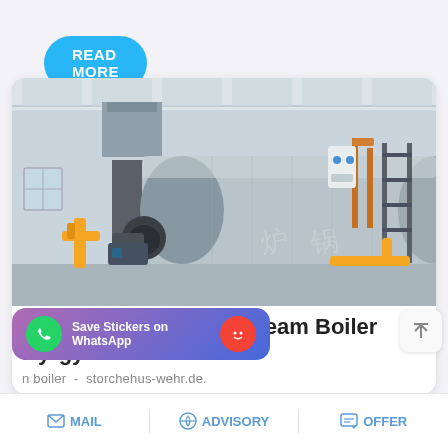READ MORE
[Figure (photo): Industrial gas steam boiler in a factory setting, showing large cylindrical boiler tanks with yellow piping and a burner assembly]
Low Price 8 Ton Gas Steam Boiler Kyrgyzstan
n boiler - storchehus-wehr.de.
Save Stickers on WhatsApp
MAIL    ADVISORY    OFFER